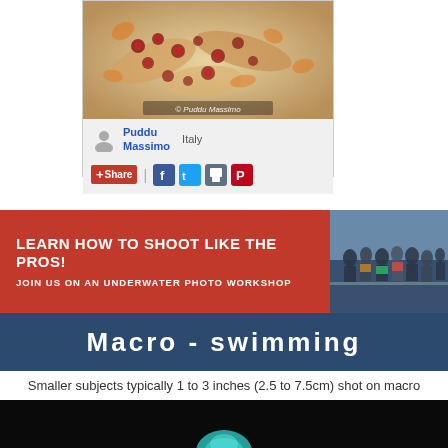[Figure (photo): Close-up macro photo of a marine creature with orange/brown spotted patterns, watermarked '© Puddu Massimo']
Puddu Massimo   Italy
+ Share  |  [Facebook] [Twitter] [Save] [Pinterest]
[Figure (photo): Promotional banner: LEARN HOW TO SHOOT LIKE THE PROS! JOIN US ON AN UNDERWATER PHOTO WORKSHOP, with group photo on right]
Macro - swimming
Smaller subjects typically 1 to 3 inches (2.5 to 7.5cm) shot on macro settings or with macro equipment that are in MID WATER not touching anything (i.e. between 1:1 and 1:3)
[Figure (photo): Dark underwater photo with teal/blue subject visible at bottom]